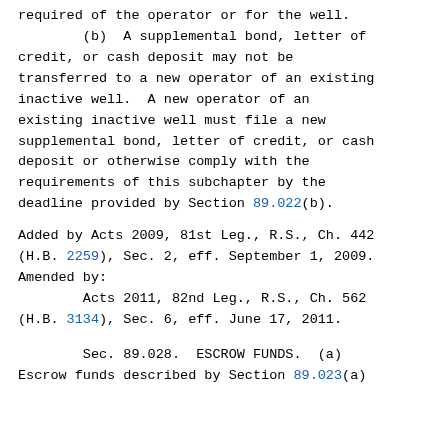required of the operator or for the well.
        (b)  A supplemental bond, letter of credit, or cash deposit may not be transferred to a new operator of an existing inactive well.  A new operator of an existing inactive well must file a new supplemental bond, letter of credit, or cash deposit or otherwise comply with the requirements of this subchapter by the deadline provided by Section 89.022(b).
Added by Acts 2009, 81st Leg., R.S., Ch. 442 (H.B. 2259), Sec. 2, eff. September 1, 2009. Amended by:
        Acts 2011, 82nd Leg., R.S., Ch. 562 (H.B. 3134), Sec. 6, eff. June 17, 2011.
Sec. 89.028.  ESCROW FUNDS.  (a) Escrow funds described by Section 89.023(a)